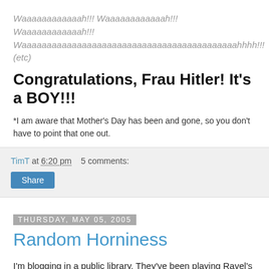Waaaaaaaaaaaah!!! Waaaaaaaaaaaah!!! Waaaaaaaaaaaah!!! Waaaaaaaaaaaaaaaaaaaaaaaaaaaaaaaaaaaaaaaaaaahhhh!!! (etc)
Congratulations, Frau Hitler! It's a BOY!!!
*I am aware that Mother's Day has been and gone, so you don't have to point that one out.
TimT at 6:20 pm    5 comments:
Share
Thursday, May 05, 2005
Random Horniness
I'm blogging in a public library. They've been playing Ravel's Bolero for the past half-hour. I think I'll just nip over and ask the librarian if she wants a jolly good shagging. The 80-year-old one with the rimmed glasses. How can she say no?